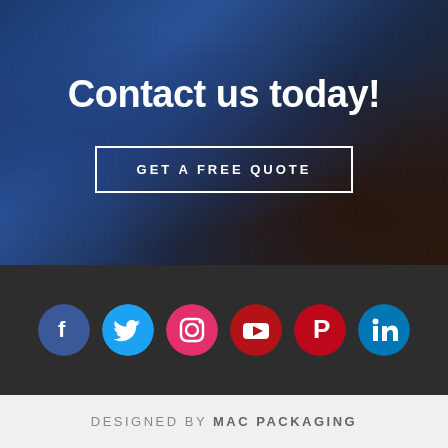Contact us today!
GET A FREE QUOTE
[Figure (infographic): Six social media icon circles: Facebook (dark blue), Twitter (cyan), Instagram (pink/red), YouTube (dark red), Pinterest (red), LinkedIn (light blue)]
DESIGNED BY MAC PACKAGING